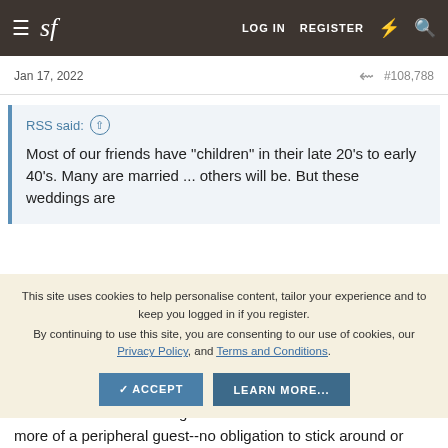sf  LOG IN  REGISTER
Jan 17, 2022   #108,788
RSS said:
Most of our friends have "children" in their late 20's to early 40's. Many are married ... others will be. But these weddings are
This site uses cookies to help personalise content, tailor your experience and to keep you logged in if you register.
By continuing to use this site, you are consenting to our use of cookies, our Privacy Policy, and Terms and Conditions.
✓ ACCEPT   LEARN MORE...
Some of the best weddings I've been to were ones where I was more of a peripheral guest--no obligation to stick around or mingle, but plenty of opportunity to enjoy the festivities. I'm enjoying more of those now that my kids (and the kids of many friends) are moving into marriage age.